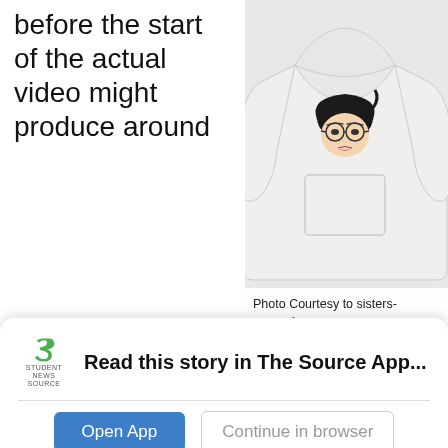before the start of the actual video might produce around
[Figure (photo): White hoodie sweatshirt with illustrated face graphic showing a person with black hair, round glasses, and pink lips on the front]
Photo Courtesy to sisters-apparel.com
[Figure (logo): Student News Source app logo - green S shape with text STUDENT NEWS SOURCE below]
Read this story in The Source App...
Open App
Continue in browser